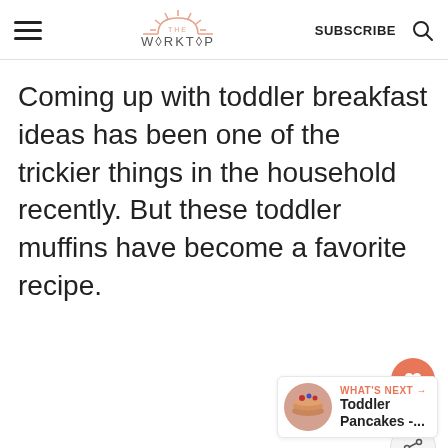THE WORKTOP | SUBSCRIBE
Coming up with toddler breakfast ideas has been one of the trickier things in the household recently. But these toddler muffins have become a favorite recipe.
[Figure (infographic): Social sharing widget with heart/save button showing 55.7K saves and a share button]
[Figure (infographic): What's Next panel showing Toddler Pancakes article thumbnail and title]